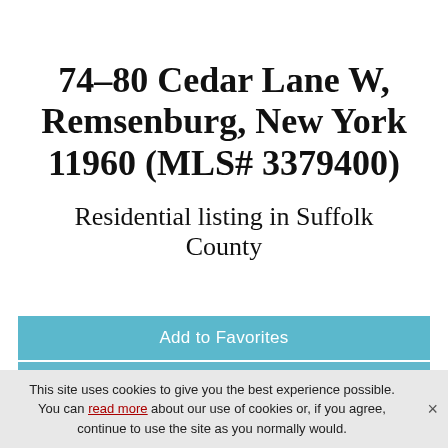74–80 Cedar Lane W, Remsenburg, New York 11960 (MLS# 3379400)
Residential listing in Suffolk County
Add to Favorites
New Search
This site uses cookies to give you the best experience possible. You can read more about our use of cookies or, if you agree, continue to use the site as you normally would.